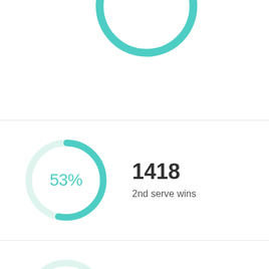[Figure (donut-chart): Partial teal donut chart clipped at top of page, no percentage visible]
[Figure (donut-chart): 2nd serve wins]
1418
2nd serve wins
[Figure (donut-chart): Net approaches]
0
Net approaches